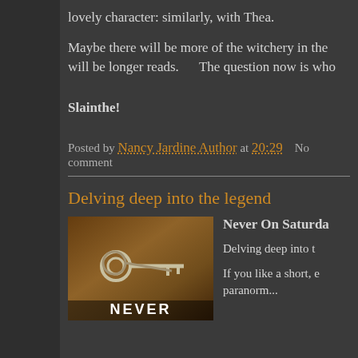lovely character: similarly, with Thea.
Maybe there will be more of the witchery in the will be longer reads.      The question now is who
Slainthe!
Posted by Nancy Jardine Author at 20:29     No comment
Delving deep into the legend
[Figure (photo): Book cover image showing old keys on wood with title NEVER at bottom]
Never On Saturda
Delving deep into t
If you like a short, e paranorm...